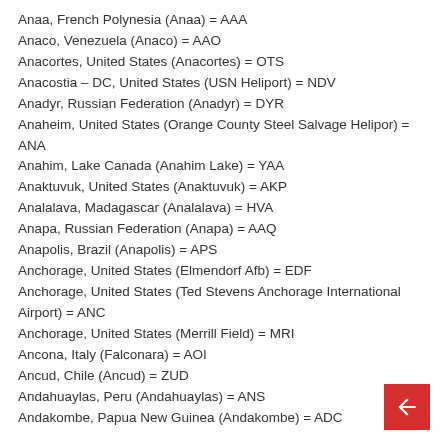Anaa, French Polynesia (Anaa) = AAA
Anaco, Venezuela (Anaco) = AAO
Anacortes, United States (Anacortes) = OTS
Anacostia – DC, United States (USN Heliport) = NDV
Anadyr, Russian Federation (Anadyr) = DYR
Anaheim, United States (Orange County Steel Salvage Helipor) = ANA
Anahim, Lake Canada (Anahim Lake) = YAA
Anaktuvuk, United States (Anaktuvuk) = AKP
Analalava, Madagascar (Analalava) = HVA
Anapa, Russian Federation (Anapa) = AAQ
Anapolis, Brazil (Anapolis) = APS
Anchorage, United States (Elmendorf Afb) = EDF
Anchorage, United States (Ted Stevens Anchorage International Airport) = ANC
Anchorage, United States (Merrill Field) = MRI
Ancona, Italy (Falconara) = AOI
Ancud, Chile (Ancud) = ZUD
Andahuaylas, Peru (Andahuaylas) = ANS
Andakombe, Papua New Guinea (Andakombe) = ADC